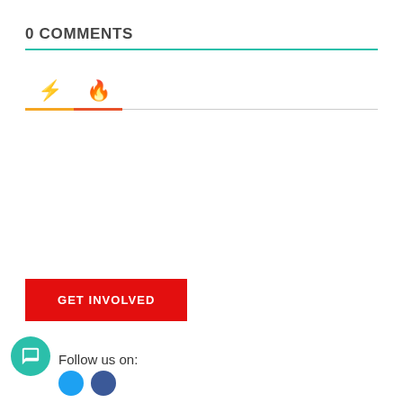0 COMMENTS
[Figure (other): Tab bar with lightning bolt icon (orange) and fire icon (red-orange), with colored underline tabs and gray remainder line]
GET INVOLVED
Follow us on:
[Figure (other): Teal chat bubble icon (bottom left), followed by social media circles (Twitter blue, Facebook blue)]